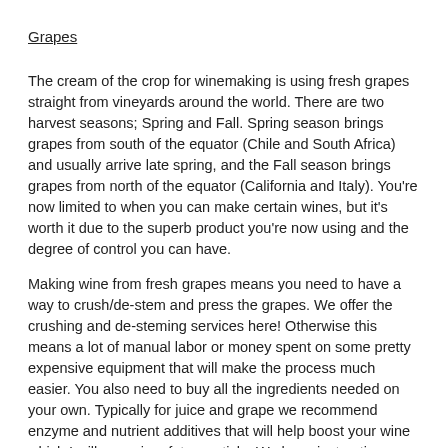Grapes
The cream of the crop for winemaking is using fresh grapes straight from vineyards around the world. There are two harvest seasons; Spring and Fall. Spring season brings grapes from south of the equator (Chile and South Africa) and usually arrive late spring, and the Fall season brings grapes from north of the equator (California and Italy). You're now limited to when you can make certain wines, but it's worth it due to the superb product you're now using and the degree of control you can have.
Making wine from fresh grapes means you need to have a way to crush/de-stem and press the grapes. We offer the crushing and de-steming services here! Otherwise this means a lot of manual labor or money spent on some pretty expensive equipment that will make the process much easier. You also need to buy all the ingredients needed on your own. Typically for juice and grape we recommend enzyme and nutrient additives that will help boost your wine which I will cover in a future article. We have instructions here in store, but what you add is up to you now! You have complete control.